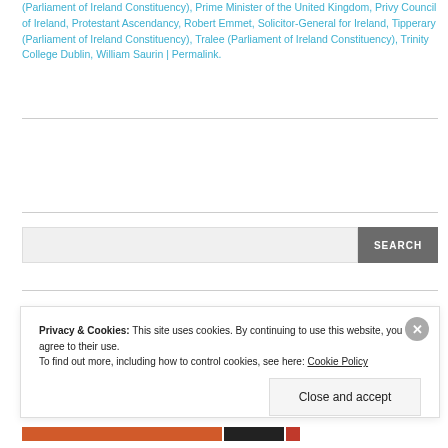(Parliament of Ireland Constituency), Prime Minister of the United Kingdom, Privy Council of Ireland, Protestant Ascendancy, Robert Emmet, Solicitor-General for Ireland, Tipperary (Parliament of Ireland Constituency), Tralee (Parliament of Ireland Constituency), Trinity College Dublin, William Saurin | Permalink.
Privacy & Cookies: This site uses cookies. By continuing to use this website, you agree to their use. To find out more, including how to control cookies, see here: Cookie Policy